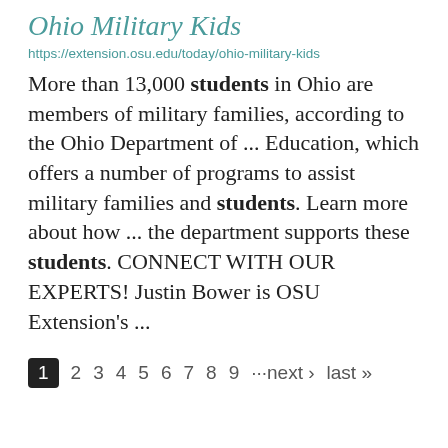Ohio Military Kids
https://extension.osu.edu/today/ohio-military-kids
More than 13,000 students in Ohio are members of military families, according to the Ohio Department of ... Education, which offers a number of programs to assist military families and students. Learn more about how ... the department supports these students. CONNECT WITH OUR EXPERTS! Justin Bower is OSU Extension's ...
1 2 3 4 5 6 7 8 9 ···next › last »